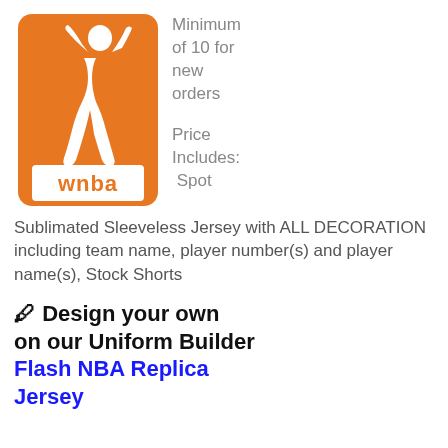[Figure (logo): WNBA orange logo with white silhouette of female basketball player and 'wnba' text at bottom]
Minimum of 10 for new orders
Price Includes: Spot Sublimated Sleeveless Jersey with ALL DECORATION including team name, player number(s) and player name(s), Stock Shorts
✏ Design your own on our Uniform Builder
Flash NBA Replica Jersey